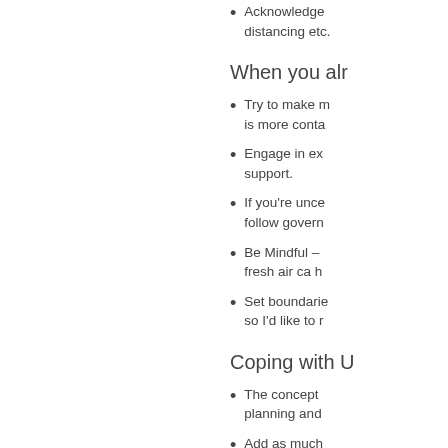Acknowledge distancing etc.
When you alr
Try to make m is more conta
Engage in ex support.
If you're unce follow govern
Be Mindful – fresh air ca h
Set boundarie so I'd like to r
Coping with U
The concept planning and
Add as much goals (e.g. th achievement